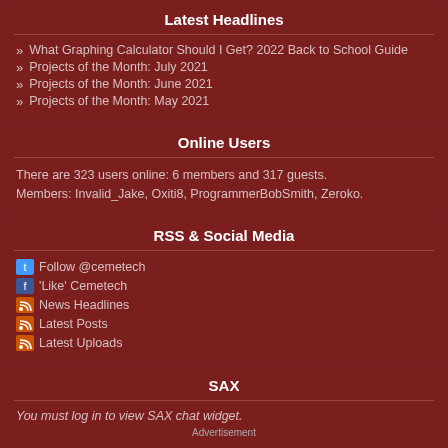Latest Headlines
What Graphing Calculator Should I Get? 2022 Back to School Guide
Projects of the Month: July 2021
Projects of the Month: June 2021
Projects of the Month: May 2021
Online Users
There are 323 users online: 6 members and 317 guests. Members: Invalid_Jake, Oxiti8, ProgrammerBobSmith, Zeroko.
RSS & Social Media
Follow @cemetech
'Like' Cemetech
News Headlines
Latest Posts
Latest Uploads
SAX
You must log in to view SAX chat widget.
Advertisement